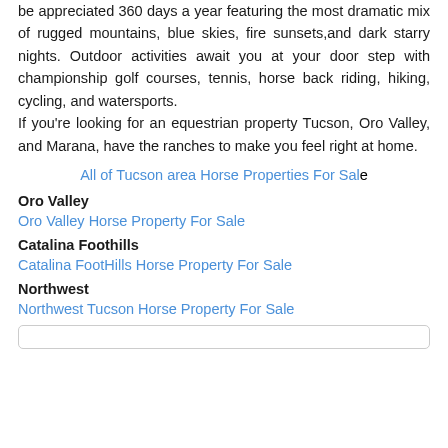be appreciated 360 days a year featuring the most dramatic mix of rugged mountains, blue skies, fire sunsets,and dark starry nights. Outdoor activities await you at your door step with championship golf courses, tennis, horse back riding, hiking, cycling, and watersports. If you're looking for an equestrian property Tucson, Oro Valley, and Marana, have the ranches to make you feel right at home.
All of Tucson area Horse Properties For Sale
Oro Valley
Oro Valley Horse Property For Sale
Catalina Foothills
Catalina FootHills Horse Property For Sale
Northwest
Northwest Tucson Horse Property For Sale